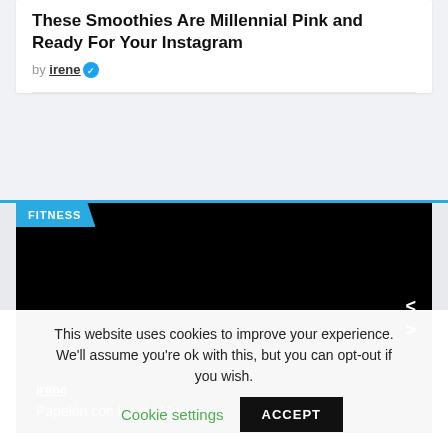These Smoothies Are Millennial Pink and Ready For Your Instagram
by irene
[Figure (screenshot): Fitness article card on dark background with FITNESS badge, navigation arrows, author name 'irene', and subtitle 'Papelón con Limón-Menta']
This website uses cookies to improve your experience. We'll assume you're ok with this, but you can opt-out if you wish. Cookie settings ACCEPT